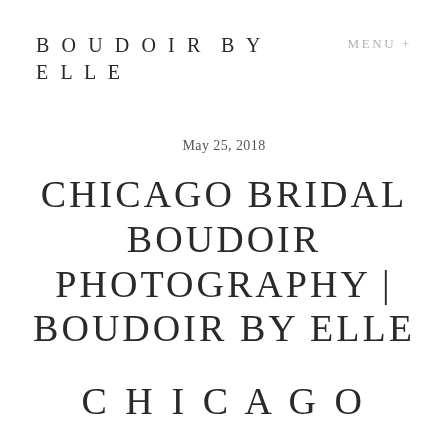BOUDOIR BY ELLE
MENU +
May 25, 2018
CHICAGO BRIDAL BOUDOIR PHOTOGRAPHY | BOUDOIR BY ELLE
CHICAGO